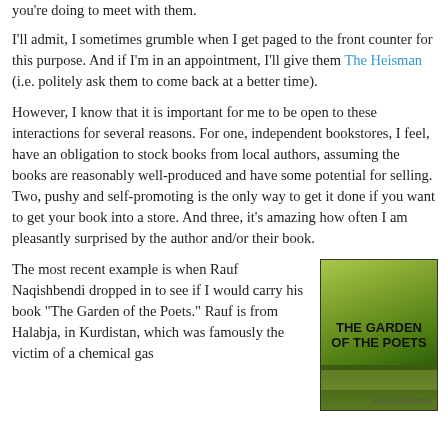you're doing to meet with them.
I'll admit, I sometimes grumble when I get paged to the front counter for this purpose. And if I'm in an appointment, I'll give them The Heisman (i.e. politely ask them to come back at a better time).
However, I know that it is important for me to be open to these interactions for several reasons. For one, independent bookstores, I feel, have an obligation to stock books from local authors, assuming the books are reasonably well-produced and have some potential for selling. Two, pushy and self-promoting is the only way to get it done if you want to get your book into a store. And three, it's amazing how often I am pleasantly surprised by the author and/or their book.
The most recent example is when Rauf Naqishbendi dropped in to see if I would carry his book "The Garden of the Poets." Rauf is from Halabja, in Kurdistan, which was famously the victim of a chemical gas
[Figure (photo): Book cover of 'The Garden of the Poets' with green and yellow natural/grass background. Title text in bold black reads 'THE GARDEN OF THE POETS' with author name at bottom.]